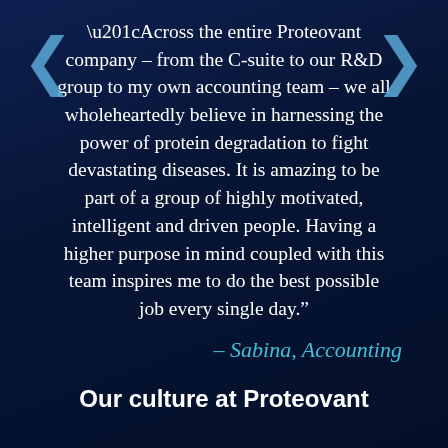“Across the entire Proteovant company – from the C-suite to our R&D group to my own accounting team – we all wholeheartedly believe in harnessing the power of protein degradation to fight devastating diseases. It is amazing to be part of a group of highly motivated, intelligent and driven people. Having a higher purpose in mind coupled with this team inspires me to do the best possible job every single day.”
– Sabina, Accounting
Our culture at Proteovant